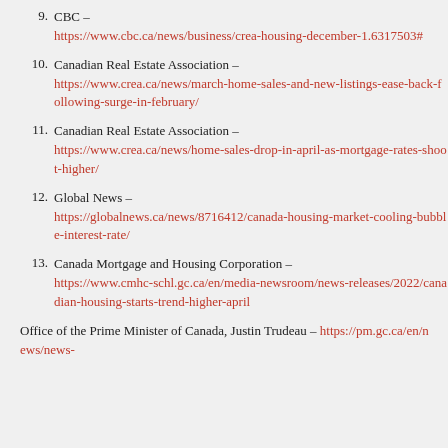9. CBC – https://www.cbc.ca/news/business/crea-housing-december-1.6317503#
10. Canadian Real Estate Association – https://www.crea.ca/news/march-home-sales-and-new-listings-ease-back-following-surge-in-february/
11. Canadian Real Estate Association – https://www.crea.ca/news/home-sales-drop-in-april-as-mortgage-rates-shoot-higher/
12. Global News – https://globalnews.ca/news/8716412/canada-housing-market-cooling-bubble-interest-rate/
13. Canada Mortgage and Housing Corporation – https://www.cmhc-schl.gc.ca/en/media-newsroom/news-releases/2022/canadian-housing-starts-trend-higher-april
Office of the Prime Minister of Canada, Justin Trudeau – https://pm.gc.ca/en/news/news-